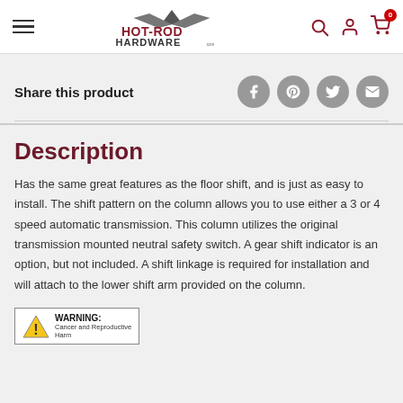Hot Rod Hardware - navigation header with logo, hamburger menu, search, account, and cart icons
Share this product
Description
Has the same great features as the floor shift, and is just as easy to install. The shift pattern on the column allows you to use either a 3 or 4 speed automatic transmission. This column utilizes the original transmission mounted neutral safety switch. A gear shift indicator is an option, but not included. A shift linkage is required for installation and will attach to the lower shift arm provided on the column.
[Figure (other): WARNING: Cancer and Reproductive Harm warning label with yellow triangle caution symbol]